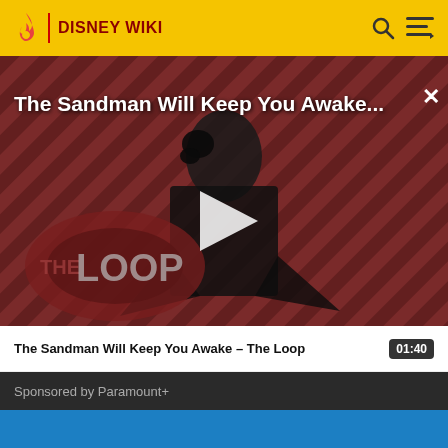DISNEY WIKI
[Figure (screenshot): Video player showing The Sandman Will Keep You Awake - The Loop with a dark-cloaked figure against a red diagonal striped background and The Loop logo overlay. Play button visible in center.]
The Sandman Will Keep You Awake - The Loop
01:40
Sponsored by Paramount+
[Figure (screenshot): Next video preview thumbnail with blue background]